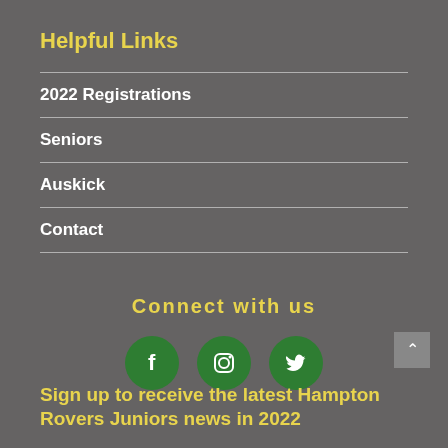Helpful Links
2022 Registrations
Seniors
Auskick
Contact
Connect with us
[Figure (illustration): Three green circular social media icons: Facebook (f), Instagram (camera), Twitter (bird)]
Sign up to receive the latest Hampton Rovers Juniors news in 2022